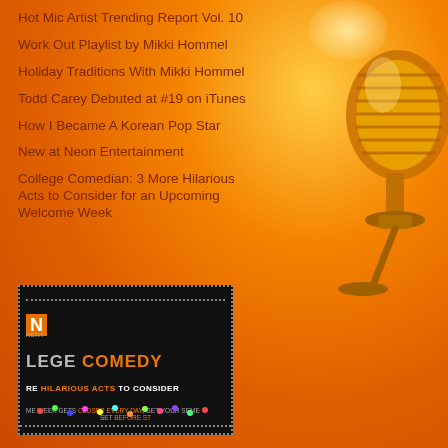Hot Mic Artist Trending Report Vol. 10
Work Out Playlist by Mikki Hommel
Holiday Traditions With Mikki Hommel
Todd Carey Debuted at #19 on iTunes
How I Became A Korean Pop Star
New at Neon Entertainment
College Comedian: 3 More Hilarious Acts to Consider for an Upcoming Welcome Week
[Figure (photo): Dark promotional image for College Comedy showing 'LEGE COMEDY' text in gray and orange, 'RE HILARIOUS ACTS TO CONSIDER' subtitle, and small text about welcome week, with colorful confetti background and dotted border.]